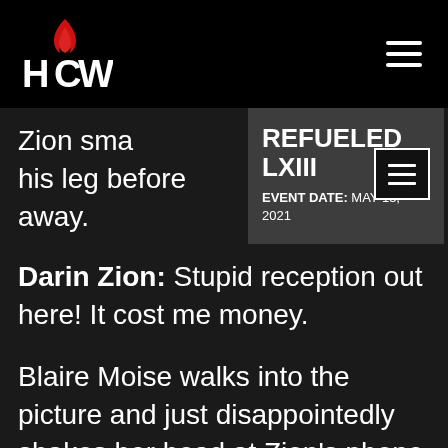HCW logo and hamburger menu
[Figure (logo): HCW logo — stylized flame above the letters H, C (with flame), W in white on black background]
Zion sma[shes the phone against his] leg before [being told to] put away.
[Figure (infographic): Dropdown tooltip showing: REFUELED LXIII, EVENT DATE: MAY 15, 2021, with a hamburger menu icon inset]
Darin Zion:  Stupid reception out here!  It cost me money.
Blaire Moise walks into the picture and just disappointedly shakes her head at Zion's phone conversation.